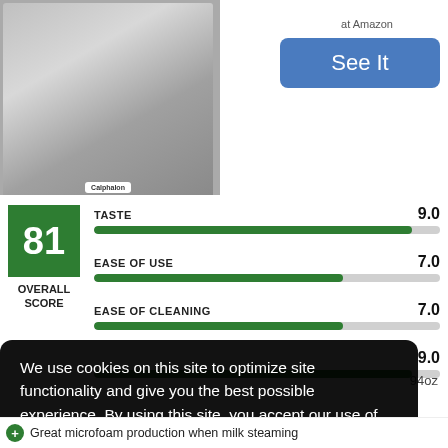[Figure (photo): Stainless steel espresso/coffee machine (Calphalon brand) shown from the front]
at Amazon
See It
[Figure (infographic): Score and rating bars: Overall Score 81. Taste 9.0, Ease of Use 7.0, Ease of Cleaning 7.0, (fourth metric) 9.0]
We use cookies on this site to optimize site functionality and give you the best possible experience. By using this site, you accept our use of cookies. Learn more
Got it!
Great microfoam production when milk steaming